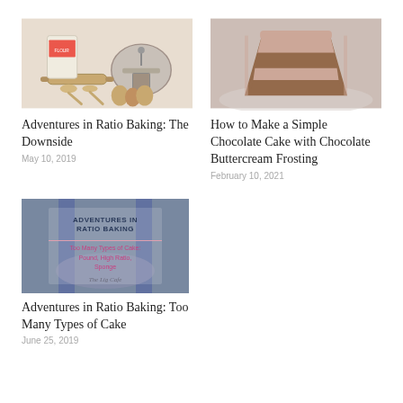[Figure (photo): Baking tools including a rolling pin, kitchen scale, wooden spoons, and eggs on a white background]
Adventures in Ratio Baking: The Downside
May 10, 2019
[Figure (photo): Slice of chocolate cake with chocolate buttercream frosting on a plate]
How to Make a Simple Chocolate Cake with Chocolate Buttercream Frosting
February 10, 2021
[Figure (photo): Adventures in Ratio Baking book cover or blog thumbnail showing text: Adventures in Ratio Baking, Too Many Types of Cake, Pound, High Ratio, Sponge, The Lig Cafe]
Adventures in Ratio Baking: Too Many Types of Cake
June 25, 2019